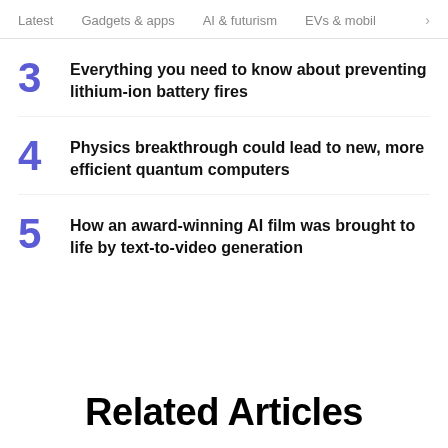Latest   Gadgets & apps   AI & futurism   EVs & mobil  >
3  Everything you need to know about preventing lithium-ion battery fires
4  Physics breakthrough could lead to new, more efficient quantum computers
5  How an award-winning AI film was brought to life by text-to-video generation
Related Articles